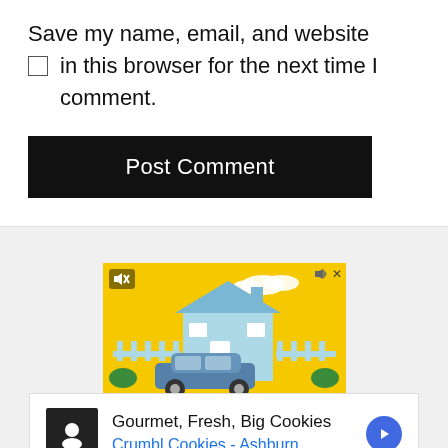Save my name, email, and website in this browser for the next time I comment.
[Figure (screenshot): Black 'Post Comment' button]
[Figure (screenshot): Advertisement banner showing a car in front of a house on yellow background with mute icon]
[Figure (screenshot): Cookie ad: Gourmet, Fresh, Big Cookies - Crumbl Cookies - Ashburn with navigation arrow]